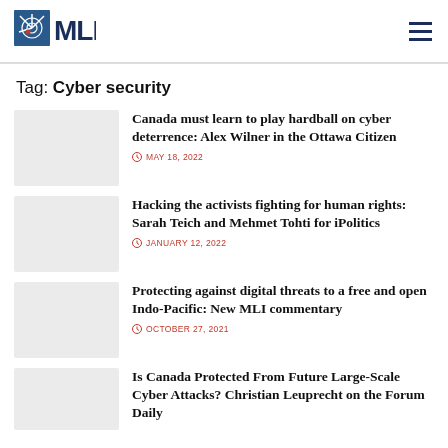MLI
Tag: Cyber security
Canada must learn to play hardball on cyber deterrence: Alex Wilner in the Ottawa Citizen
MAY 18, 2022
Hacking the activists fighting for human rights: Sarah Teich and Mehmet Tohti for iPolitics
JANUARY 12, 2022
Protecting against digital threats to a free and open Indo-Pacific: New MLI commentary
OCTOBER 27, 2021
Is Canada Protected From Future Large-Scale Cyber Attacks? Christian Leuprecht on the Forum Daily